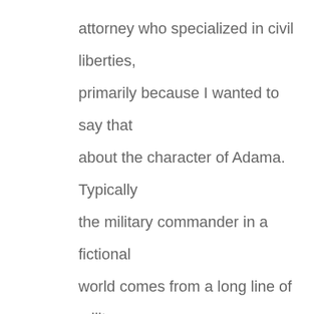attorney who specialized in civil liberties, primarily because I wanted to say that about the character of Adama. Typically the military commander in a fictional world comes from a long line of military commanders, going back to the [American] Revolution or something, and I wanted to set him apart from that tradition. This is a man that believes in a lot of the ideals that the uniform stands